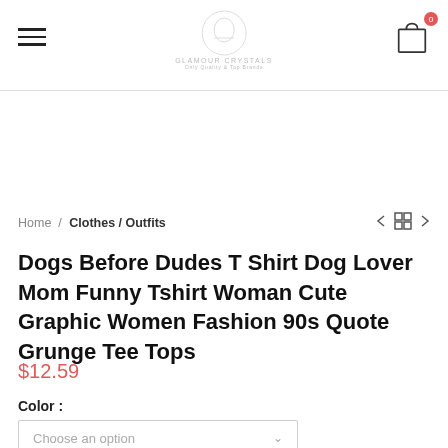Navigation header with hamburger menu, logo, and shopping cart with 0 items
Home / Clothes / Outfits
Dogs Before Dudes T Shirt Dog Lover Mom Funny Tshirt Woman Cute Graphic Women Fashion 90s Quote Grunge Tee Tops
$12.59
Color :
Choose an option